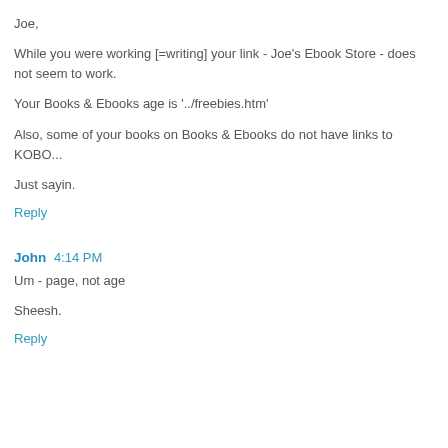Joe,
While you were working [=writing] your link - Joe's Ebook Store - does not seem to work.
Your Books & Ebooks age is '../freebies.htm'
Also, some of your books on Books & Ebooks do not have links to KOBO...
Just sayin.
Reply
John 4:14 PM
Um - page, not age
Sheesh.
Reply